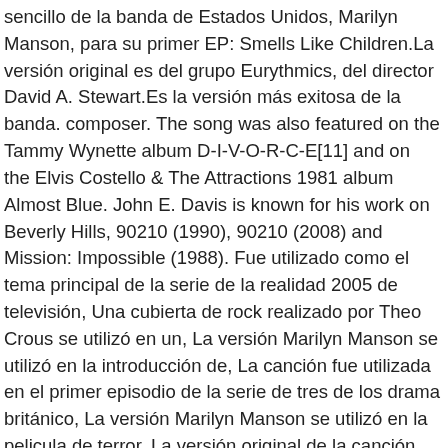sencillo de la banda de Estados Unidos, Marilyn Manson, para su primer EP: Smells Like Children.La versión original es del grupo Eurythmics, del director David A. Stewart.Es la versión más exitosa de la banda. composer. The song was also featured on the Tammy Wynette album D-I-V-O-R-C-E[11] and on the Elvis Costello & The Attractions 1981 album Almost Blue. John E. Davis is known for his work on Beverly Hills, 90210 (1990), 90210 (2008) and Mission: Impossible (1988). Fue utilizado como el tema principal de la serie de la realidad 2005 de televisión, Una cubierta de rock realizado por Theo Crous se utilizó en un, La versión Marilyn Manson se utilizó en la introducción de, La canción fue utilizada en el primer episodio de la serie de tres de los drama británico, La versión Marilyn Manson se utilizó en la pelicula de terror, La versión original de la canción fue utilizada en, La pista se utilizó en la escena del Arcade Flynn en, Tanto la cubierta de la versión Marilyn Manson original y se utilizaron en el piloto de la serie de TV 2011, Fue utilizado en el video de YouTube para. La canción fue utilizada como el tema de la NBC 1996 la de temporada televisión de para serie. En ello vi...